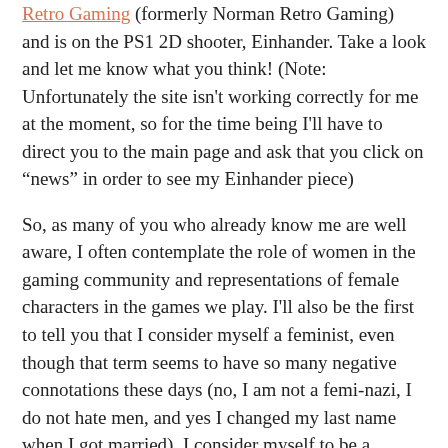Retro Gaming (formerly Norman Retro Gaming) and is on the PS1 2D shooter, Einhander. Take a look and let me know what you think! (Note: Unfortunately the site isn't working correctly for me at the moment, so for the time being I'll have to direct you to the main page and ask that you click on “news” in order to see my Einhander piece)
So, as many of you who already know me are well aware, I often contemplate the role of women in the gaming community and representations of female characters in the games we play. I'll also be the first to tell you that I consider myself a feminist, even though that term seems to have so many negative connotations these days (no, I am not a femi-nazi, I do not hate men, and yes I changed my last name when I got married). I consider myself to be a